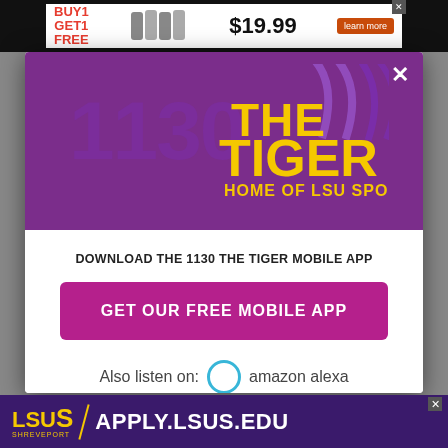[Figure (screenshot): Top advertisement banner showing BUY1 GET1 FREE promotion for $19.99 with learn more button]
[Figure (logo): 1130 The Tiger logo - Home of LSU Sports radio station logo on purple background]
DOWNLOAD THE 1130 THE TIGER MOBILE APP
GET OUR FREE MOBILE APP
Also listen on: amazon alexa
[Figure (advertisement): LSUS Shreveport - APPLY.LSUS.EDU advertisement banner]